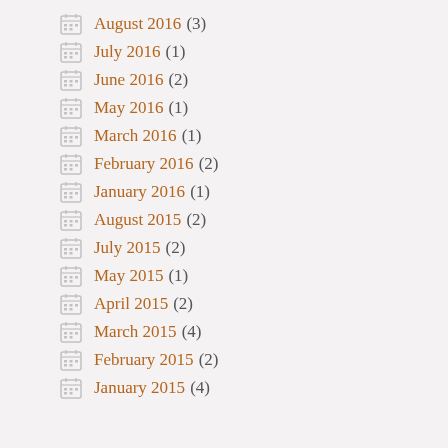August 2016 (3)
July 2016 (1)
June 2016 (2)
May 2016 (1)
March 2016 (1)
February 2016 (2)
January 2016 (1)
August 2015 (2)
July 2015 (2)
May 2015 (1)
April 2015 (2)
March 2015 (4)
February 2015 (2)
January 2015 (4)